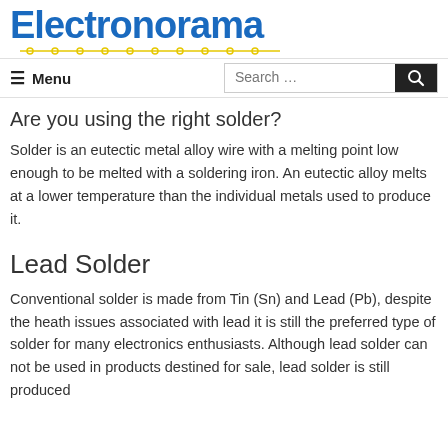Electronorama
Are you using the right solder?
Solder is an eutectic metal alloy wire with a melting point low enough to be melted with a soldering iron. An eutectic alloy melts at a lower temperature than the individual metals used to produce it.
Lead Solder
Conventional solder is made from Tin (Sn) and Lead (Pb), despite the heath issues associated with lead it is still the preferred type of solder for many electronics enthusiasts. Although lead solder can not be used in products destined for sale, lead solder is still produced